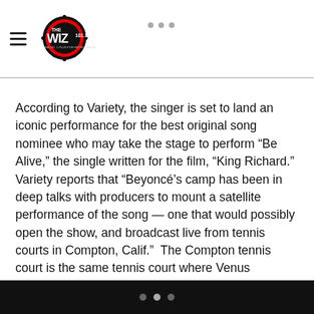The Wiz 101.1 - logo and navigation header
According to Variety, the singer is set to land an iconic performance for the best original song nominee who may take the stage to perform “Be Alive,” the single written for the film, “King Richard.” Variety reports that “Beyoncé’s camp has been in deep talks with producers to mount a satellite performance of the song — one that would possibly open the show, and broadcast live from tennis courts in Compton, Calif.”  The Compton tennis court is the same tennis court where Venus